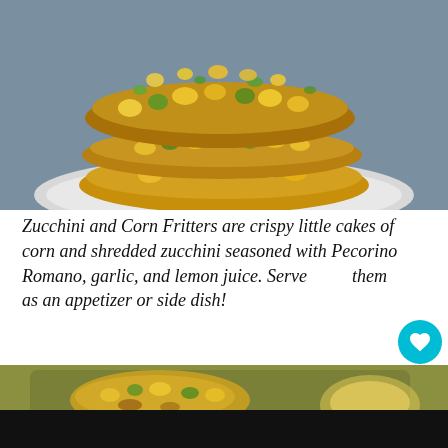[Figure (photo): Stack of zucchini and corn fritters on a white plate, showing golden crispy texture with visible corn kernels and green zucchini shreds]
Zucchini and Corn Fritters are crispy little cakes of corn and shredded zucchini seasoned with Pecorino Romano, garlic, and lemon juice. Serve them as an appetizer or side dish!
[Figure (photo): Close-up photo of zucchini and corn fritters in a pan, partially visible, blurred background with olive oil or sauce in a dish]